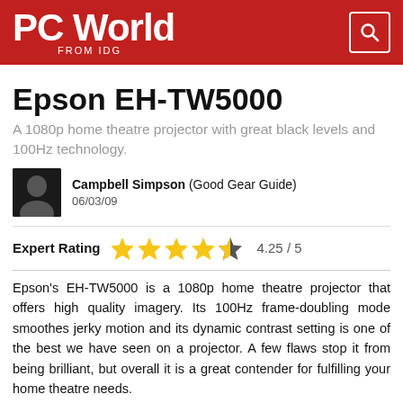PC World FROM IDG
Epson EH-TW5000
A 1080p home theatre projector with great black levels and 100Hz technology.
Campbell Simpson (Good Gear Guide) 06/03/09
Expert Rating 4.25 / 5
Epson's EH-TW5000 is a 1080p home theatre projector that offers high quality imagery. Its 100Hz frame-doubling mode smoothes jerky motion and its dynamic contrast setting is one of the best we have seen on a projector. A few flaws stop it from being brilliant, but overall it is a great contender for fulfilling your home theatre needs.
The Epson EH-TW5000 is a 3LCD projector built on the same chassis as earlier Epson home theatre models. It is large and heavy, but it is